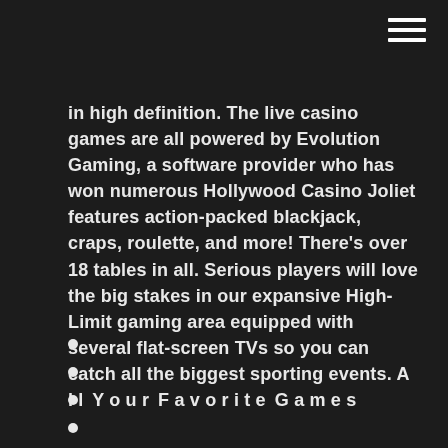in high definition. The live casino games are all powered by Evolution Gaming, a software provider who has won numerous Hollywood Casino Joliet features action-packed blackjack, craps, roulette, and more! There's over 18 tables in all. Serious players will love the big stakes in our expansive High-Limit gaming area equipped with several flat-screen TVs so you can catch all the biggest sporting events. A l l Y o u r F a v o r i t e G a m e s